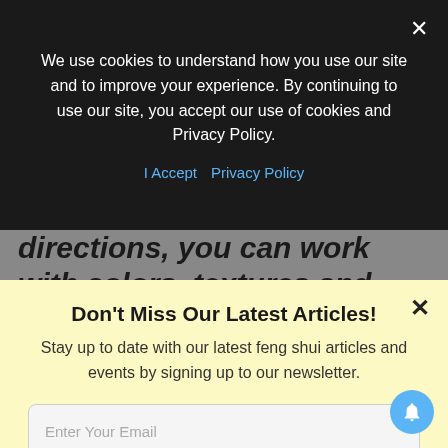We use cookies to understand how you use our site and to improve your experience. By continuing to use our site, you accept our use of cookies and Privacy Policy.
I Accept   Privacy Policy
directions, you can work with colors, textures and ornaments of your choice to attract abundant luck.
Don't Miss Our Latest Articles!
Stay up to date with our latest feng shui articles and events by signing up to our newsletter.
Enter Your Email
SUBSCRIBE NOW
No thanks, I'm not interested